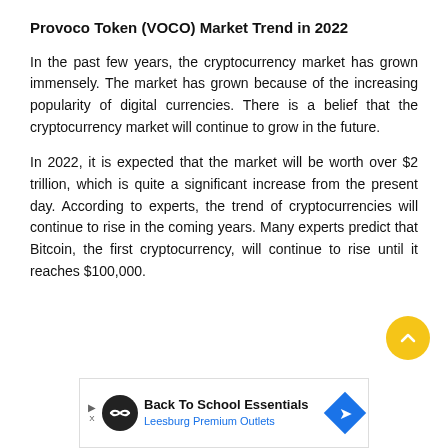Provoco Token (VOCO) Market Trend in 2022
In the past few years, the cryptocurrency market has grown immensely. The market has grown because of the increasing popularity of digital currencies. There is a belief that the cryptocurrency market will continue to grow in the future.
In 2022, it is expected that the market will be worth over $2 trillion, which is quite a significant increase from the present day. According to experts, the trend of cryptocurrencies will continue to rise in the coming years. Many experts predict that Bitcoin, the first cryptocurrency, will continue to rise until it reaches $100,000.
[Figure (other): Yellow circular scroll-to-top button with upward chevron arrow]
[Figure (other): Advertisement banner: Back To School Essentials - Leesburg Premium Outlets, with logo and navigation icon]